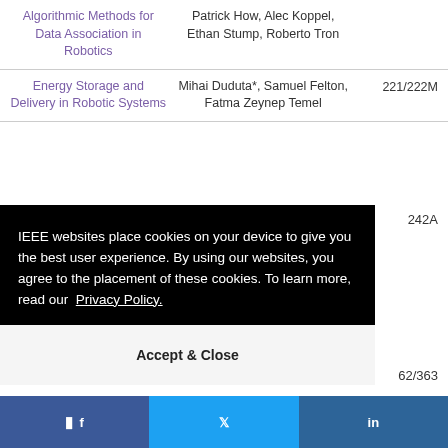| Title | Authors | Room |
| --- | --- | --- |
| Algorithmic Methods for Data Association in Robotics | Patrick How, Alec Koppel, Ethan Stump, Roberto Tron |  |
| Energy Storage and Delivery in Robotic Systems | Mihai Duduta*, Samuel Felton, Fatma Zeynep Temel | 221/222M |
|  |  | 242A |
|  |  | 62/363 |
IEEE websites place cookies on your device to give you the best user experience. By using our websites, you agree to the placement of these cookies. To learn more, read our Privacy Policy.
Accept & Close